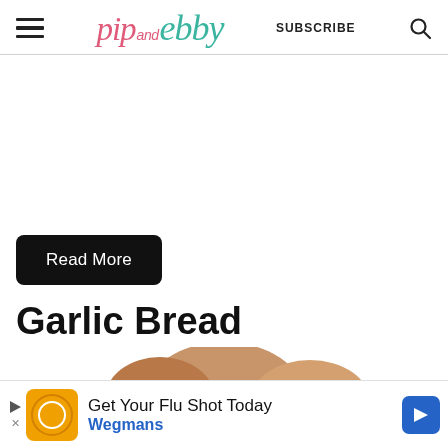pip and ebby — SUBSCRIBE
[Figure (other): White/blank content area above Read More button]
Read More
Garlic Bread
[Figure (photo): Partial food photo at bottom showing garlic bread]
[Figure (other): Advertisement banner: Get Your Flu Shot Today - Wegmans]